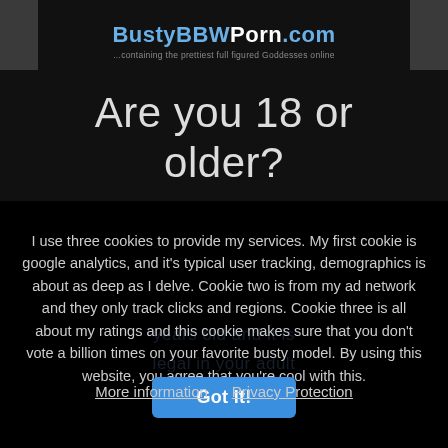BustyBBWPorn.com ...containing the prettiest full figured Goddesses online
Are you 18 or older?
I use three cookies to provide my services. My first cookie is google analytics, and it's typical user tracking, demographics is about as deep as I delve. Cookie two is from my ad network and they only track clicks and regions. Cookie three is all about my ratings and this cookie makes sure that you don't vote a billion times on your favorite busty model. By using this website, you agree that you're cool with this.
Got it!
More information   Privacy Protection